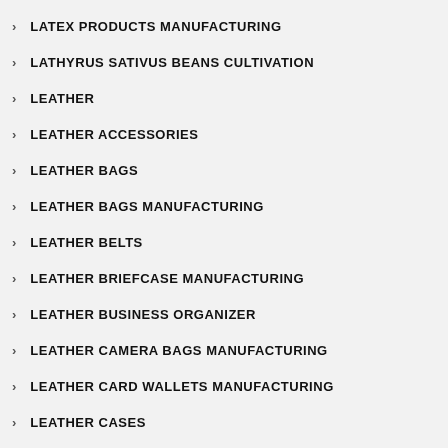LATEX PRODUCTS MANUFACTURING
LATHYRUS SATIVUS BEANS CULTIVATION
LEATHER
LEATHER ACCESSORIES
LEATHER BAGS
LEATHER BAGS MANUFACTURING
LEATHER BELTS
LEATHER BRIEFCASE MANUFACTURING
LEATHER BUSINESS ORGANIZER
LEATHER CAMERA BAGS MANUFACTURING
LEATHER CARD WALLETS MANUFACTURING
LEATHER CASES
LEATHER CHEMICAL MANUFACTURING
LEATHER FOOTWEAR MANUFACTURING